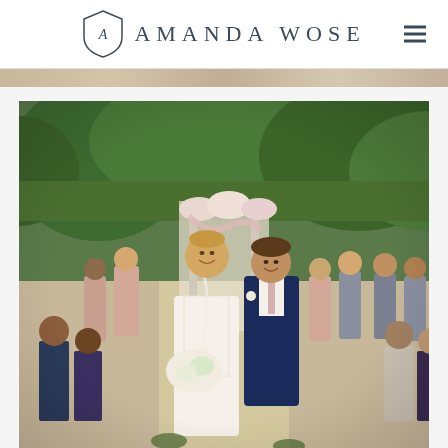AMANDA WOSE
[Figure (photo): Wedding ceremony recessional photo: a smiling bride in white lace dress holding a white floral bouquet walks arm-in-arm with groom in navy suit and pink tie, surrounded by bridesmaids in blush dresses and groomsmen in grey suits, with a floral-decorated arch in the background set in a green garden.]